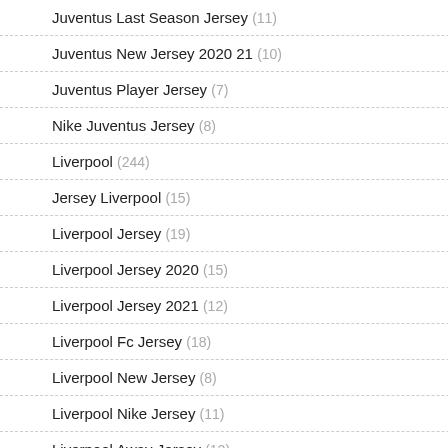Juventus Last Season Jersey (11)
Juventus New Jersey 2020 21 (10)
Juventus Player Jersey (7)
Nike Juventus Jersey (8)
Liverpool (244)
Jersey Liverpool (15)
Liverpool Jersey (19)
Liverpool Jersey 2020 (15)
Liverpool Jersey 2021 (12)
Liverpool Fc Jersey (18)
Liverpool New Jersey (8)
Liverpool Nike Jersey (11)
Liverpool Away Jersey (12)
Liverpool Black Jersey (14)
Liverpool Jersey Kids (23)
Liverpool Jersey Australia (16)
[Figure (photo): Germany national football team jersey - white with black stripes and red/black accents on sleeves, adidas logo visible]
germany jersey
$73.00  $49.00  Save: 33% off